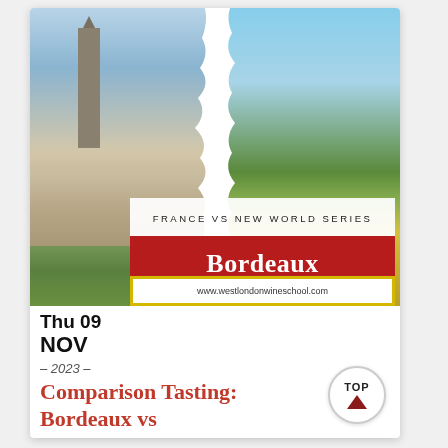[Figure (illustration): Split image showing Bordeaux cityscape with cathedral tower on the left and New World vineyard landscape on the right, with a torn paper effect in the middle. White banner overlay reads 'FRANCE VS NEW WORLD SERIES'. Large red banner reads 'Bordeaux vs The New World'. Yellow-bordered white strip at bottom shows 'www.westlondonwineschool.com']
Thu 09 NOV
– 2023 –
www.westlondonwineschool.com
Comparison Tasting: Bordeaux vs